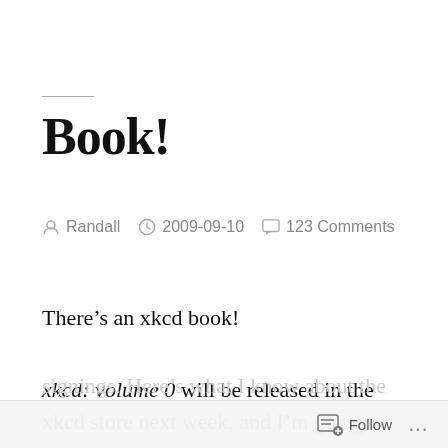Book!
Randall   2009-09-10   123 Comments
There’s an xkcd book!
xkcd: volume 0 will be released in the xkcd store next week, and I’m going to some